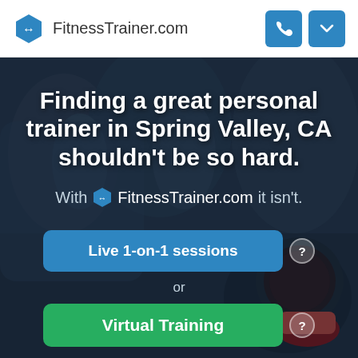[Figure (logo): FitnessTrainer.com logo with blue hexagon icon and site name]
[Figure (other): Phone icon button (blue square)]
[Figure (other): Chevron down icon button (blue square)]
[Figure (photo): Dark gym background with people working out and kettlebell in foreground]
Finding a great personal trainer in Spring Valley, CA shouldn't be so hard.
With FitnessTrainer.com it isn't.
Live 1-on-1 sessions
or
Virtual Training